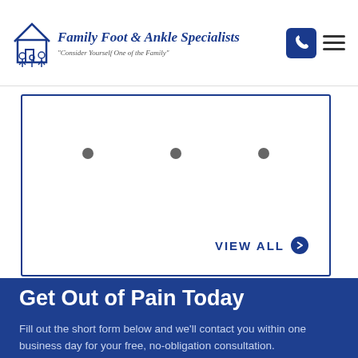[Figure (logo): Family Foot & Ankle Specialists logo with house/family icon and script text]
[Figure (screenshot): Review card section with three navigation dots and VIEW ALL link, bordered in navy blue]
Get Out of Pain Today
Fill out the short form below and we’ll contact you within one business day for your free, no-obligation consultation.